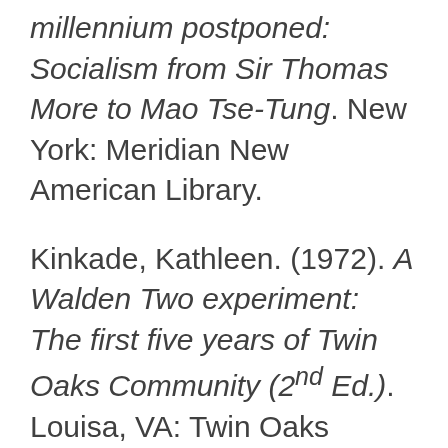millennium postponed: Socialism from Sir Thomas More to Mao Tse-Tung. New York: Meridian New American Library.
Kinkade, Kathleen. (1972). A Walden Two experiment: The first five years of Twin Oaks Community (2nd Ed.). Louisa, VA: Twin Oaks Community, Inc.
Knauer, Kelly (Ed.). (2010). Secret societies: Decoding the myths and